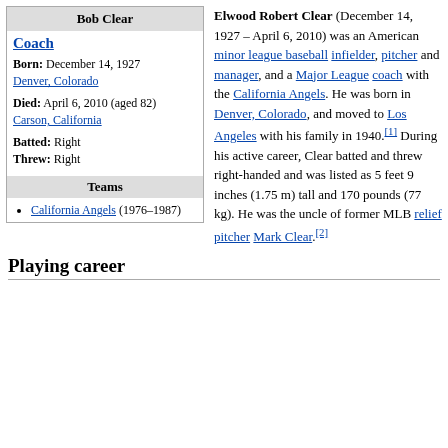| Bob Clear |
| --- |
| Coach |
| Born: December 14, 1927
Denver, Colorado |
| Died: April 6, 2010 (aged 82)
Carson, California |
| Batted: Right
Threw: Right |
| Teams |
| California Angels (1976–1987) |
Elwood Robert Clear (December 14, 1927 – April 6, 2010) was an American minor league baseball infielder, pitcher and manager, and a Major League coach with the California Angels. He was born in Denver, Colorado, and moved to Los Angeles with his family in 1940.[1] During his active career, Clear batted and threw right-handed and was listed as 5 feet 9 inches (1.75 m) tall and 170 pounds (77 kg). He was the uncle of former MLB relief pitcher Mark Clear.[2]
Playing career